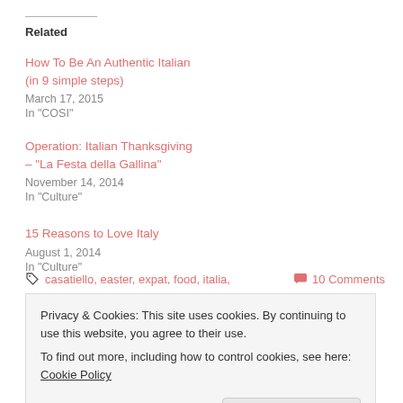Related
How To Be An Authentic Italian (in 9 simple steps)
March 17, 2015
In "COSI"
Operation: Italian Thanksgiving – "La Festa della Gallina"
November 14, 2014
In "Culture"
15 Reasons to Love Italy
August 1, 2014
In "Culture"
casatiello, easter, expat, food, italia,   10 Comments
Privacy & Cookies: This site uses cookies. By continuing to use this website, you agree to their use.
To find out more, including how to control cookies, see here: Cookie Policy